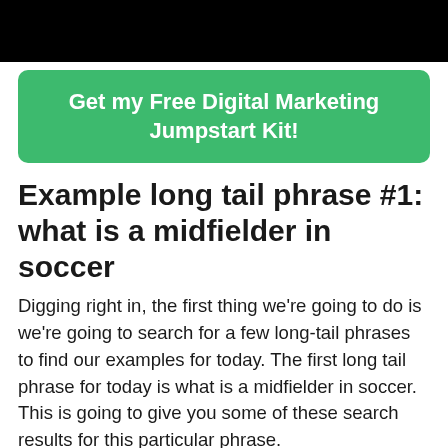[Figure (other): Black banner image at top of page]
Get my Free Digital Marketing Jumpstart Kit!
Example long tail phrase #1: what is a midfielder in soccer
Digging right in, the first thing we're going to do is we're going to search for a few long-tail phrases to find our examples for today. The first long tail phrase for today is what is a midfielder in soccer. This is going to give you some of these search results for this particular phrase.
And what I'm going to do is I'm going to go